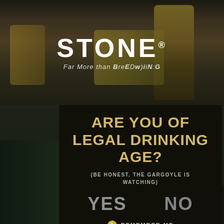[Figure (screenshot): Stone Brewing age verification page screenshot with dark background showing beer bottles and cans, Stone Brewing logo at top, and age verification modal overlay]
STONE®
Far More than Brewing
ARE YOU OF LEGAL DRINKING AGE?
(BE HONEST, THE GARGOYLE IS WATCHING)
YES
NO
REMEMBER ME
THIS SITE USES COOKIES. INFORMATION ON OUR COOKIES AND INSTRUCTIONS TO DISABLE THEM